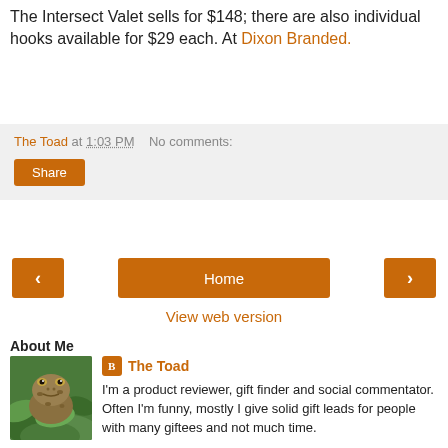The Intersect Valet sells for $148; there are also individual hooks available for $29 each. At Dixon Branded.
The Toad at 1:03 PM   No comments:
Share
< Home >
View web version
About Me
[Figure (photo): Photo of a toad sitting on green foliage]
The Toad
I'm a product reviewer, gift finder and social commentator. Often I'm funny, mostly I give solid gift leads for people with many giftees and not much time.
View my complete profile
Powered by Blogger.